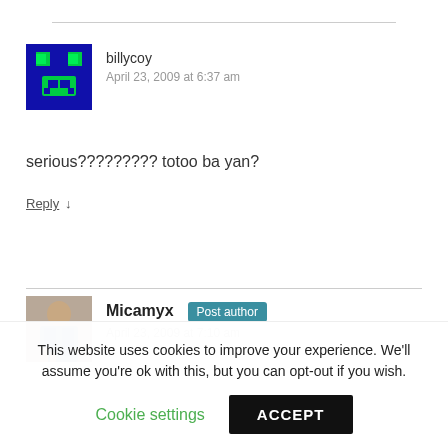billycoy
April 23, 2009 at 6:37 am
serious????????? totoo ba yan?
Reply ↓
Micamyx Post author
April 23, 2009 at 7:10 am
This website uses cookies to improve your experience. We'll assume you're ok with this, but you can opt-out if you wish.
Cookie settings
ACCEPT